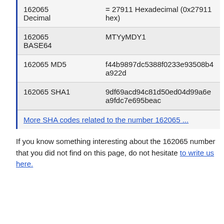| 162065 Decimal | = 27911 Hexadecimal (0x27911 hex) |
| 162065 BASE64 | MTYyMDY1 |
| 162065 MD5 | f44b9897dc5388f0233e93508b4a922d |
| 162065 SHA1 | 9df69acd94c81d50ed04d99a6ea9fdc7e695beac |
More SHA codes related to the number 162065 ...
If you know something interesting about the 162065 number that you did not find on this page, do not hesitate to write us here.